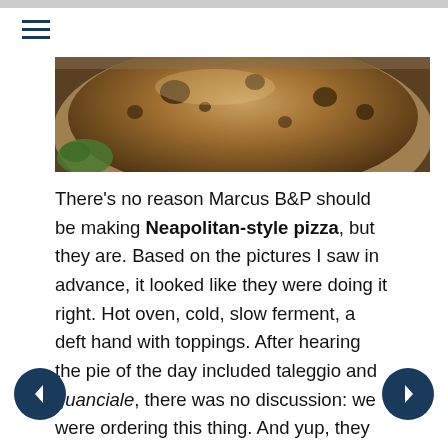[Figure (photo): Close-up photo of a Neapolitan-style pizza with charred crust in a round pan]
There's no reason Marcus B&P should be making Neapolitan-style pizza, but they are. Based on the pictures I saw in advance, it looked like they were doing it right. Hot oven, cold, slow ferment, a deft hand with toppings. After hearing the pie of the day included taleggio and guanciale, there was no discussion: we were ordering this thing. And yup, they nailed it. They're doing pizza at Marcus B&P better than 99.99% of pizza places. I mean, super, super stuff here.